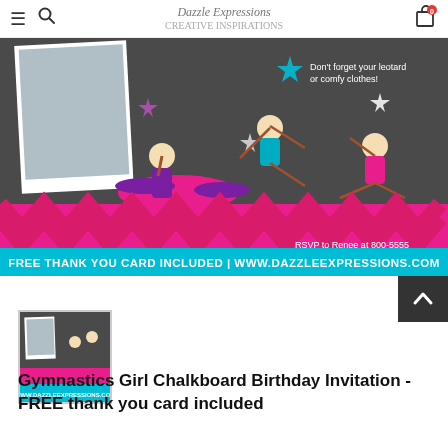≡  🔍  Dazzle Expressions  [cart: 0]
[Figure (photo): Gymnastics Girl Chalkboard Birthday Invitation product image showing cartoon girls doing gymnastics on a chalkboard and pink chevron background, with a teal banner reading FREE THANK YOU CARD INCLUDED | WWW.DAZZLEEXPRESSIONS.COM]
[Figure (photo): Small thumbnail of the Gymnastics Girl Chalkboard Birthday Invitation]
Gymnastics Girl Chalkboard Birthday Invitation - FREE thank you card included